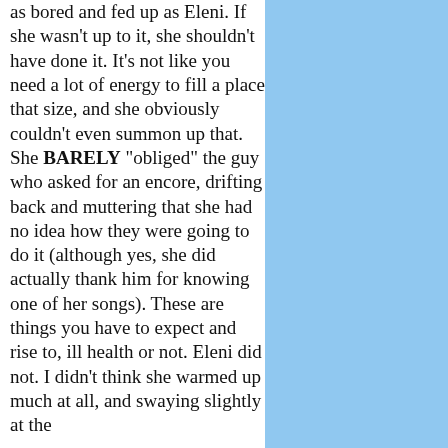as bored and fed up as Eleni. If she wasn't up to it, she shouldn't have done it. It's not like you need a lot of energy to fill a place that size, and she obviously couldn't even summon up that. She BARELY "obliged" the guy who asked for an encore, drifting back and muttering that she had no idea how they were going to do it (although yes, she did actually thank him for knowing one of her songs). These are things you have to expect and rise to, ill health or not. Eleni did not. I didn't think she warmed up much at all, and swaying slightly at the
[Figure (other): Solid light blue rectangle occupying the right portion of the page]